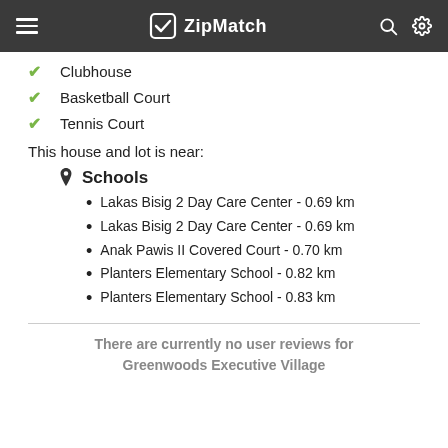ZipMatch
Clubhouse
Basketball Court
Tennis Court
This house and lot is near:
Schools
Lakas Bisig 2 Day Care Center - 0.69 km
Lakas Bisig 2 Day Care Center - 0.69 km
Anak Pawis II Covered Court - 0.70 km
Planters Elementary School - 0.82 km
Planters Elementary School - 0.83 km
There are currently no user reviews for Greenwoods Executive Village